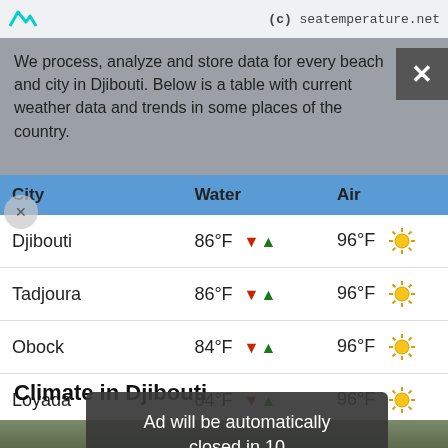(c) seatemperature.net
We process, analyze and store data for every beach and city in Djibouti. Below is a table with current weather data and trends in some places of the country.
| City | Water | Air |
| --- | --- | --- |
| Djibouti | 86°F | 96°F |
| Tadjoura | 86°F | 96°F |
| Obock | 84°F | 96°F |
| Loyada | 84°F | 96°F |
Climate in Djibouti
Ad will be automatically closed in 10